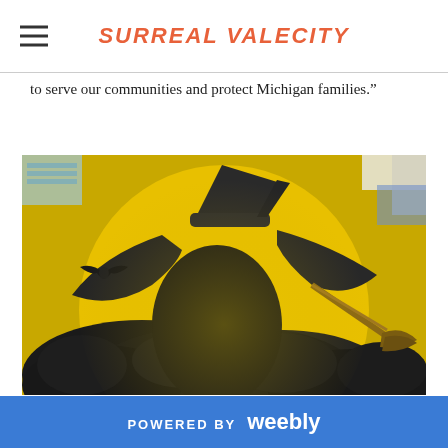SURREAL VALECITY
to serve our communities and protect Michigan families."
[Figure (illustration): A painted artwork on a round yellow background showing a dark silhouette of a witch with a pointed hat riding a broomstick against a large full moon, with a small bat flying nearby. The painting has dark swirling clouds and detailed brush strokes.]
POWERED BY weebly